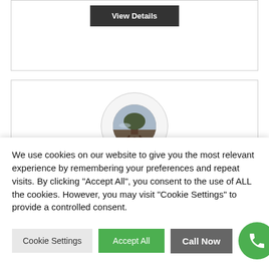[Figure (screenshot): Top card with a dark 'View Details' button]
[Figure (photo): Card with circular profile image showing a tree/landscape scene, with bold title 'Best Price Handyman Service' below it]
We use cookies on our website to give you the most relevant experience by remembering your preferences and repeat visits. By clicking "Accept All", you consent to the use of ALL the cookies. However, you may visit "Cookie Settings" to provide a controlled consent.